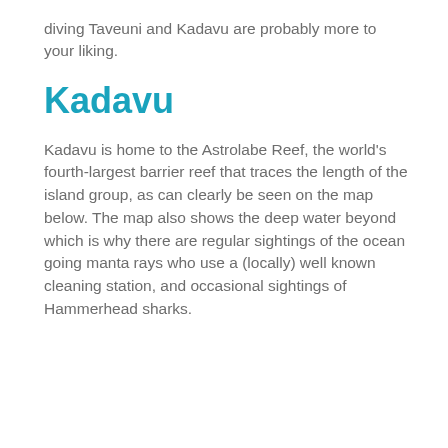diving Taveuni and Kadavu are probably more to your liking.
Kadavu
Kadavu is home to the Astrolabe Reef, the world's fourth-largest barrier reef that traces the length of the island group, as can clearly be seen on the map below. The map also shows the deep water beyond which is why there are regular sightings of the ocean going manta rays who use a (locally) well known cleaning station, and occasional sightings of Hammerhead sharks.